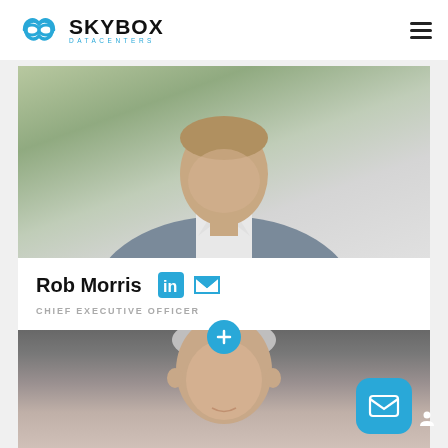[Figure (logo): Skybox Datacenters logo with infinity symbol and company name]
[Figure (photo): Photo of Rob Morris, CEO, man in grey blazer and white shirt]
Rob Morris
CHIEF EXECUTIVE OFFICER
[Figure (photo): Photo of second person, man with grey hair, partially visible]